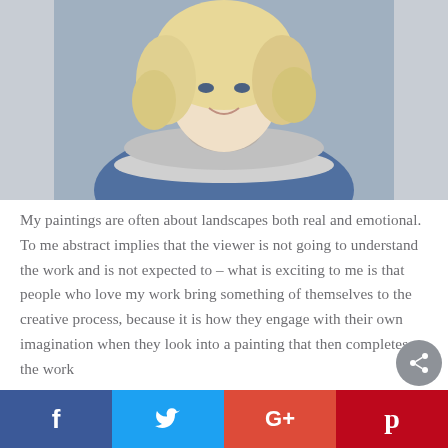[Figure (photo): Portrait photo of a young woman with curly blonde hair wearing a grey and white striped turtleneck sweater, smiling, photographed outdoors in winter.]
My paintings are often about landscapes both real and emotional. To me abstract implies that the viewer is not going to understand the work and is not expected to – what is exciting to me is that people who love my work bring something of themselves to the creative process, because it is how they engage with their own imagination when they look into a painting that then completes the work